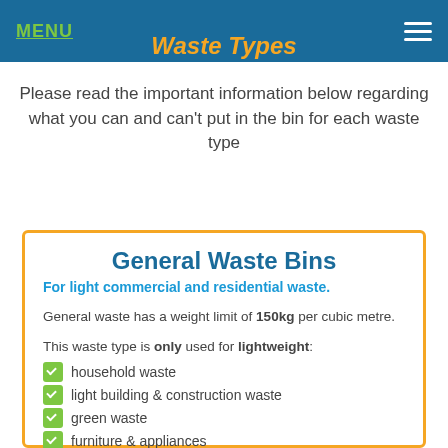MENU | [hamburger icon]
Waste Types
Please read the important information below regarding what you can and can't put in the bin for each waste type
General Waste Bins
For light commercial and residential waste.
General waste has a weight limit of 150kg per cubic metre.
This waste type is only used for lightweight:
household waste
light building & construction waste
green waste
furniture & appliances